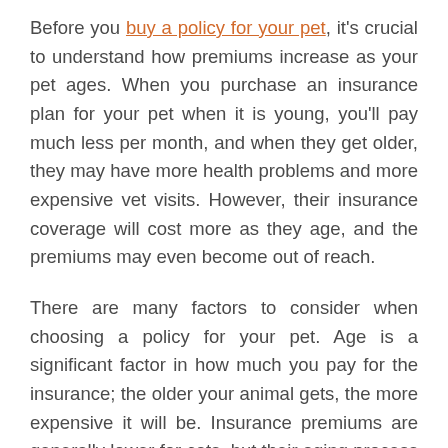Before you buy a policy for your pet, it's crucial to understand how premiums increase as your pet ages. When you purchase an insurance plan for your pet when it is young, you'll pay much less per month, and when they get older, they may have more health problems and more expensive vet visits. However, their insurance coverage will cost more as they age, and the premiums may even become out of reach.
There are many factors to consider when choosing a policy for your pet. Age is a significant factor in how much you pay for the insurance; the older your animal gets, the more expensive it will be. Insurance premiums are generally lower for cats, but their aging process dramatically raises the cost of veterinary care. Keeping your pet healthy will save you significant money in the